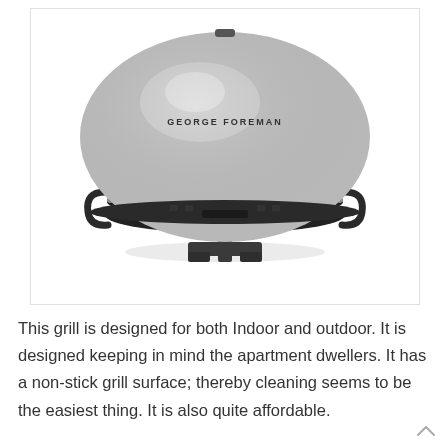[Figure (photo): George Foreman branded electric indoor/outdoor grill with silver dome-shaped lid and black stand/base, photographed on white background]
This grill is designed for both Indoor and outdoor. It is designed keeping in mind the apartment dwellers. It has a non-stick grill surface; thereby cleaning seems to be the easiest thing. It is also quite affordable.